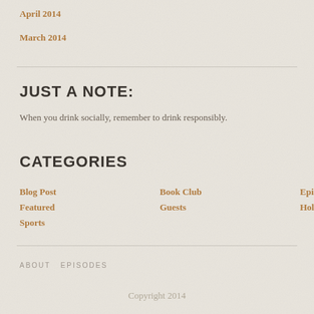April 2014
March 2014
JUST A NOTE:
When you drink socially, remember to drink responsibly.
CATEGORIES
Blog Post
Book Club
Episodes
Featured
Guests
Holidays
Sports
ABOUT   EPISODES
Copyright 2014